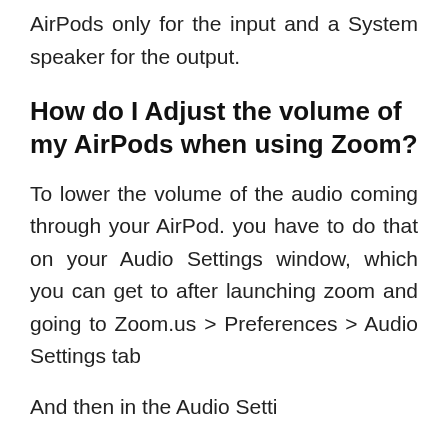AirPods only for the input and a System speaker for the output.
How do I Adjust the volume of my AirPods when using Zoom?
To lower the volume of the audio coming through your AirPod. you have to do that on your Audio Settings window, which you can get to after launching zoom and going to Zoom.us > Preferences > Audio Settings tab
And then in the Audio Setti...